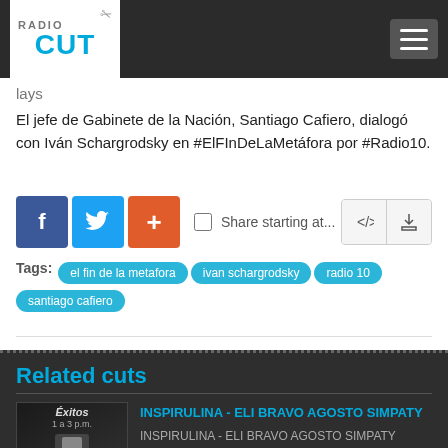Radio Cut
lays
El jefe de Gabinete de la Nación, Santiago Cafiero, dialogó con Iván Schargrodsky en #ElFInDeLaMetáfora por #Radio10.
Tags: el fin de la metafora  ivan schargrodsky  radio 10  santiago cafiero
Related cuts
INSPIRULINA - ELI BRAVO AGOSTO SIMPATY
INSPIRULINA - ELI BRAVO AGOSTO SIMPATY